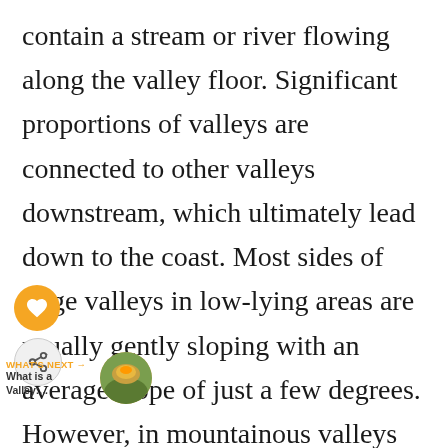contain a stream or river flowing along the valley floor. Significant proportions of valleys are connected to other valleys downstream, which ultimately lead down to the coast. Most sides of large valleys in low-lying areas are usually gently sloping with an average slope of just a few degrees. However, in mountainous valleys are typically deep and narrow and the sides have slopes of 35°